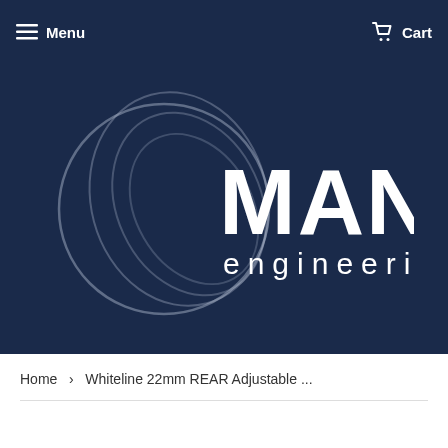Menu   Cart
[Figure (logo): Mann Engineering logo on dark navy background. Large white bold text 'MANN' above smaller text 'engineering', with overlapping circular ring graphic in light gray on the left side.]
Home  >  Whiteline 22mm REAR Adjustable ...